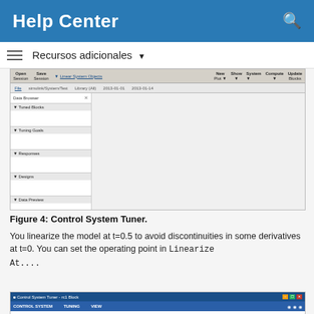Help Center
Recursos adicionales
[Figure (screenshot): Control System Tuner application window showing left panel with sections: Tuned Blocks, Tuning Goals, Responses, Designs, Data Preview. Right side is empty gray panel.]
Figure 4: Control System Tuner.
You linearize the model at t=0.5 to avoid discontinuities in some derivatives at t=0. You can set the operating point in LinearizeAt....
[Figure (screenshot): Control System Tuner window title bar and toolbar showing blue title bar with window controls and navigation tabs.]